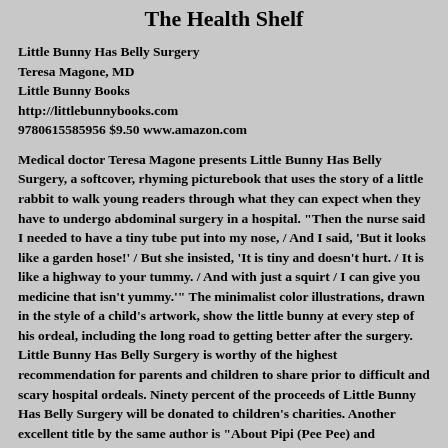The Health Shelf
Little Bunny Has Belly Surgery
Teresa Magone, MD
Little Bunny Books
http://littlebunnybooks.com
9780615585956 $9.50 www.amazon.com
Medical doctor Teresa Magone presents Little Bunny Has Belly Surgery, a softcover, rhyming picturebook that uses the story of a little rabbit to walk young readers through what they can expect when they have to undergo abdominal surgery in a hospital. "Then the nurse said I needed to have a tiny tube put into my nose, / And I said, 'But it looks like a garden hose!' / But she insisted, 'It is tiny and doesn't hurt. / It is like a highway to your tummy. / And with just a squirt / I can give you medicine that isn't yummy.'" The minimalist color illustrations, drawn in the style of a child's artwork, show the little bunny at every step of his ordeal, including the long road to getting better after the surgery. Little Bunny Has Belly Surgery is worthy of the highest recommendation for parents and children to share prior to difficult and scary hospital ordeals. Ninety percent of the proceeds of Little Bunny Has Belly Surgery will be donated to children's charities. Another excellent title by the same author is "About Pipi (Pee Pee) and